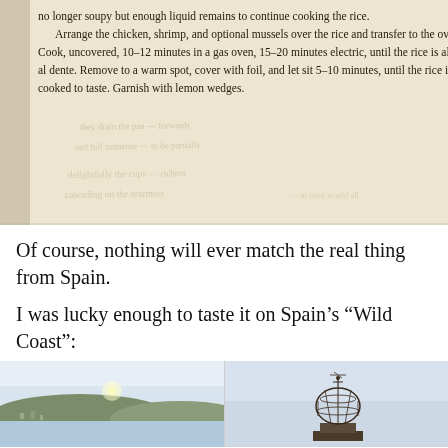[Figure (photo): Photograph of an open cookbook page showing recipe text about paella/rice dish including instructions about arranging chicken, shrimp, and mussels over rice and cooking in oven, finishing with lemon wedges. The page-behind shows faint bleed-through text.]
Of course, nothing will ever match the real thing from Spain.
I was lucky enough to taste it on Spain's “Wild Coast”:
[Figure (photo): Two side-by-side photos of Spain's Wild Coast. Left photo shows a coastal town/city with hills and water. Right photo shows an ornate dome or gazebo structure against a cloudy sky.]